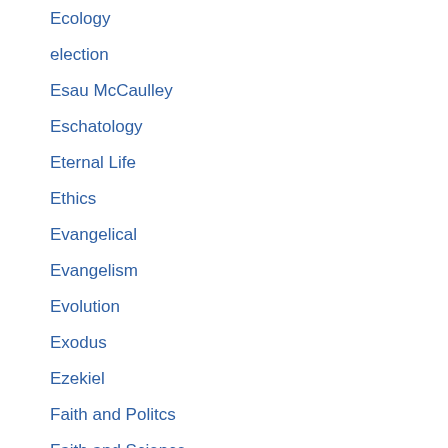Ecology
election
Esau McCaulley
Eschatology
Eternal Life
Ethics
Evangelical
Evangelism
Evolution
Exodus
Ezekiel
Faith and Politcs
Faith and Science
Feminism
Forgiveness
Francis Schaeffer
Fredrick Douglass